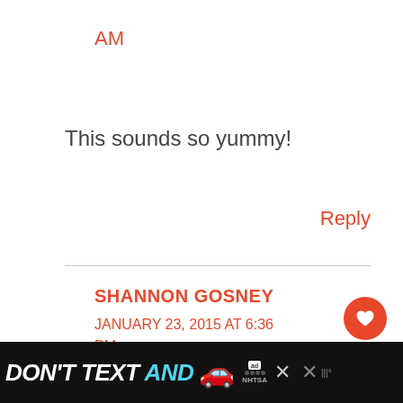AM
This sounds so yummy!
Reply
SHANNON GOSNEY
JANUARY 23, 2015 AT 6:36 PM
[Figure (screenshot): DON'T TEXT AND drive advertisement banner at the bottom of the page showing a car emoji, ad choices logo, NHTSA logo, and close buttons]